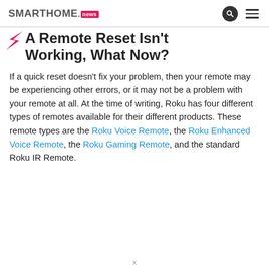SMARTHOME.news
A Remote Reset Isn't Working, What Now?
If a quick reset doesn't fix your problem, then your remote may be experiencing other errors, or it may not be a problem with your remote at all. At the time of writing, Roku has four different types of remotes available for their different products. These remote types are the Roku Voice Remote, the Roku Enhanced Voice Remote, the Roku Gaming Remote, and the standard Roku IR Remote.
x